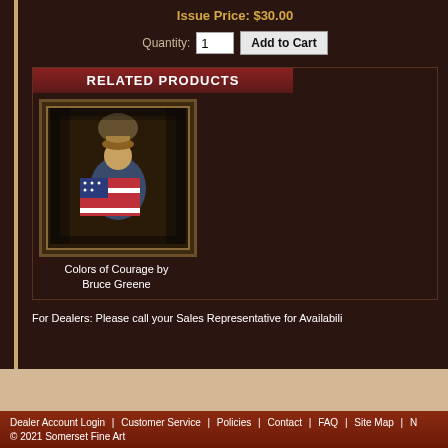Issue Price: $30.00
Quantity: 1  Add to Cart
RELATED PRODUCTS
[Figure (photo): Framed painting 'Colors of Courage' by Bruce Greene showing a figure with an American flag]
Colors of Courage by Bruce Greene
For Dealers: Please call your Sales Representative for Availability
Dealer Account Login | Customer Service | Policies | Contact | FAQ | Site Map | N  © 2021 Somerset Fine Art